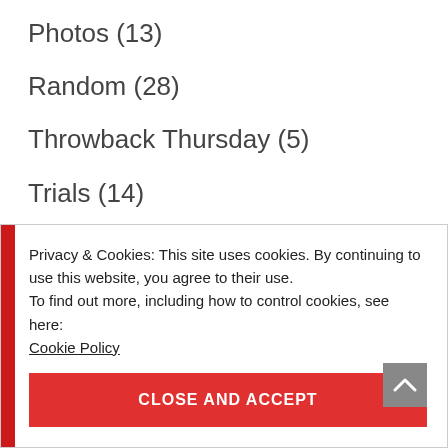Photos (13)
Random (28)
Throwback Thursday (5)
Trials (14)
Trip Details (212)
Trip Planning (37)
Privacy & Cookies: This site uses cookies. By continuing to use this website, you agree to their use.
To find out more, including how to control cookies, see here:
Cookie Policy
CLOSE AND ACCEPT